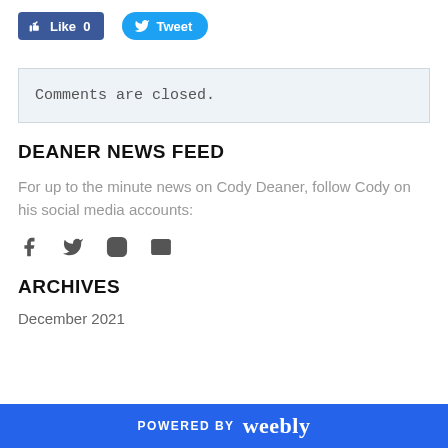[Figure (other): Facebook Like button (blue, 0 likes) and Twitter Tweet button (blue)]
Comments are closed.
DEANER NEWS FEED
For up to the minute news on Cody Deaner, follow Cody on his social media accounts:
[Figure (other): Social media icons: Facebook, Twitter, Instagram, Email]
ARCHIVES
December 2021
POWERED BY weebly